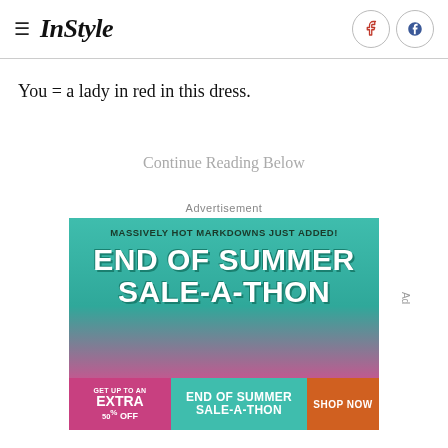InStyle
You = a lady in red in this dress.
Continue Reading Below
Advertisement
[Figure (other): End of Summer Sale-A-Thon advertisement banner with teal/pink gradient background. Text: 'MASSIVELY HOT MARKDOWNS JUST ADDED!' and 'END OF SUMMER SALE-A-THON']
[Figure (other): Bottom ad strip: left panel pink 'GET UP TO AN EXTRA 50% OFF', middle teal 'END OF SUMMER SALE-A-THON', right orange 'SHOP NOW']